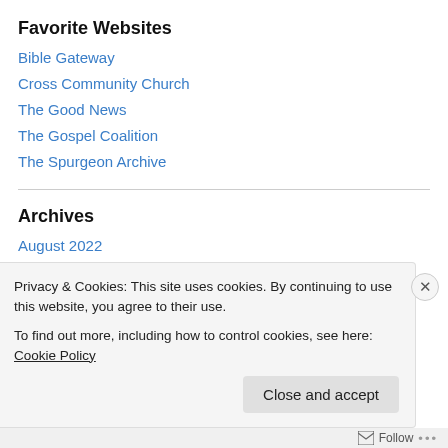Favorite Websites
Bible Gateway
Cross Community Church
The Good News
The Gospel Coalition
The Spurgeon Archive
Archives
August 2022
July 2022
June 2022
Privacy & Cookies: This site uses cookies. By continuing to use this website, you agree to their use.
To find out more, including how to control cookies, see here: Cookie Policy
Close and accept
Follow